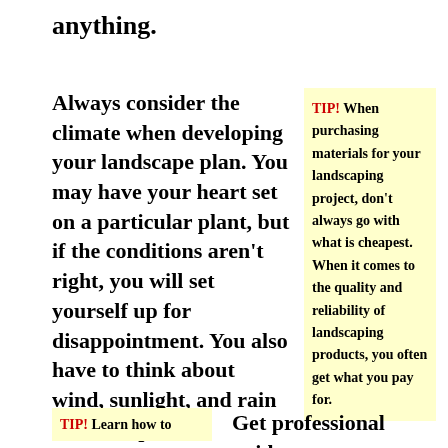anything.
Always consider the climate when developing your landscape plan. You may have your heart set on a particular plant, but if the conditions aren't right, you will set yourself up for disappointment. You also have to think about wind, sunlight, and rain amounts prior to choosing your plants.
TIP! When purchasing materials for your landscaping project, don't always go with what is cheapest. When it comes to the quality and reliability of landscaping products, you often get what you pay for.
TIP! Learn how to
Get professional guidance